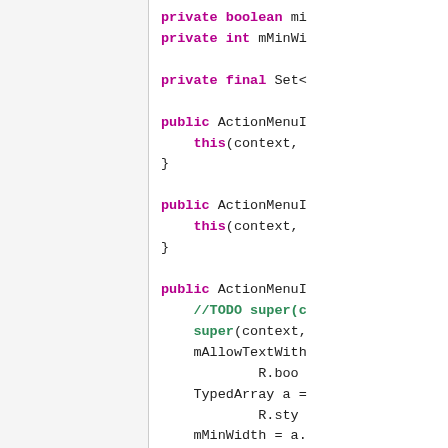[Figure (screenshot): Source code panel showing Java class code with syntax highlighting. Left panel is light gray (file browser or blank panel). Right panel shows Java code with keywords in bold magenta, comments in green, and regular text in dark gray. Code includes private field declarations, constructor stubs, and a constructor body with super() call, mAllowTextWith assignment reading R.bool, TypedArray creation, mMinWidth assignment reading R.styl, and a.recycle().]